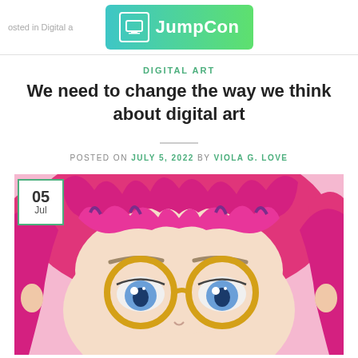JumpCon
DIGITAL ART
We need to change the way we think about digital art
POSTED ON JULY 5, 2022 BY VIOLA G. LOVE
[Figure (illustration): Anime-style illustration of a girl with pink hair and round gold glasses, close-up of face and eyes with blue irises, date badge showing 05 Jul in bottom-left corner]